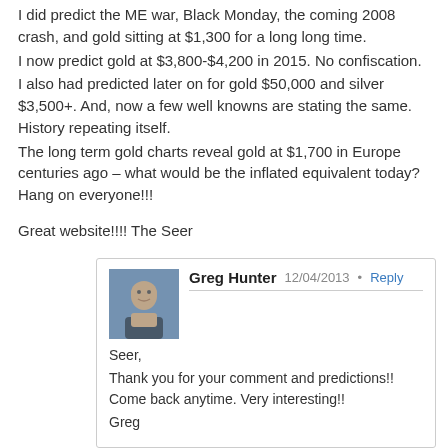I did predict the ME war, Black Monday, the coming 2008 crash, and gold sitting at $1,300 for a long long time.
I now predict gold at $3,800-$4,200 in 2015. No confiscation.
I also had predicted later on for gold $50,000 and silver $3,500+. And, now a few well knowns are stating the same. History repeating itself.
The long term gold charts reveal gold at $1,700 in Europe centuries ago – what would be the inflated equivalent today? Hang on everyone!!!

Great website!!!! The Seer
Seer,
Thank you for your comment and predictions!! Come back anytime. Very interesting!!
Greg